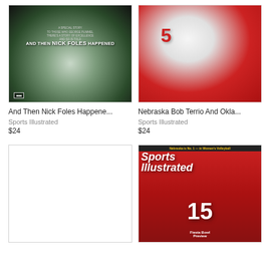[Figure (photo): Sports Illustrated special edition cover for And Then Nick Foles Happened - Eagles confetti celebration]
[Figure (photo): Nebraska Bob Terrio and Oklahoma football players action photo - Sports Illustrated]
And Then Nick Foles Happene...
Sports Illustrated
$24
Nebraska Bob Terrio And Okla...
Sports Illustrated
$24
[Figure (photo): Blank white placeholder image]
[Figure (photo): Sports Illustrated Nebraska football player #15 Fiesta Bowl Preview cover]